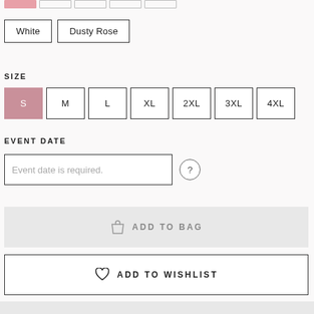White
Dusty Rose
SIZE
S (selected)
M
L
XL
2XL
3XL
4XL
EVENT DATE
Event date is required.
ADD TO BAG
ADD TO WISHLIST